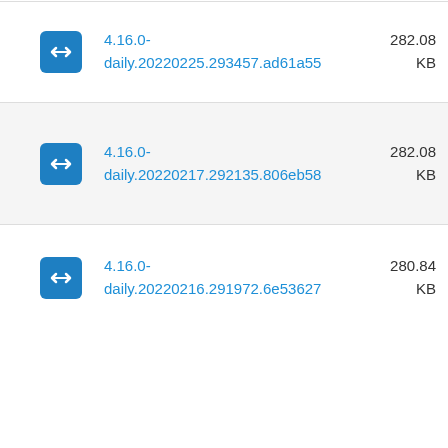4.16.0-daily.20220225.293457.ad61a55  282.08 KB
4.16.0-daily.20220217.292135.806eb58  282.08 KB
4.16.0-daily.20220216.291972.6e53627  280.84 KB